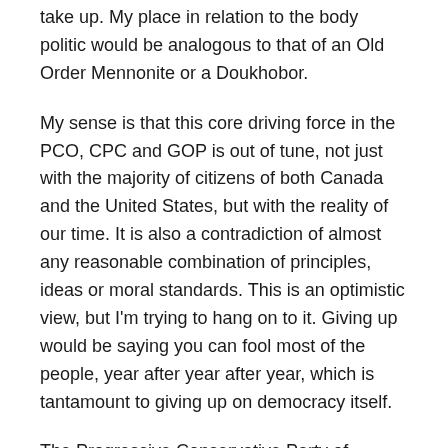take up. My place in relation to the body politic would be analogous to that of an Old Order Mennonite or a Doukhobor.
My sense is that this core driving force in the PCO, CPC and GOP is out of tune, not just with the majority of citizens of both Canada and the United States, but with the reality of our time. It is also a contradiction of almost any reasonable combination of principles, ideas or moral standards. This is an optimistic view, but I'm trying to hang on to it. Giving up would be saying you can fool most of the people, year after year after year, which is tantamount to giving up on democracy itself.
The Progressive Conservative Party of Ontario as currently constituted remains a force to be reckoned with only because it has been able to fool large numbers of